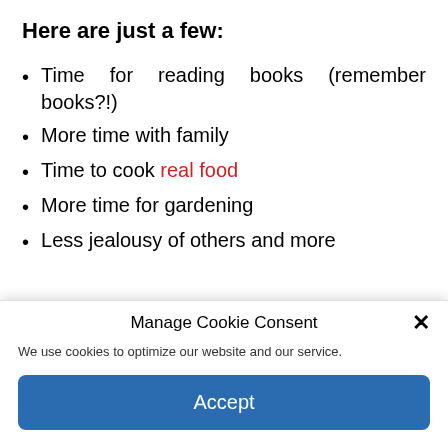Here are just a few:
Time for reading books (remember books?!)
More time with family
Time to cook real food
More time for gardening
Less jealousy of others and more
Manage Cookie Consent
We use cookies to optimize our website and our service.
Accept